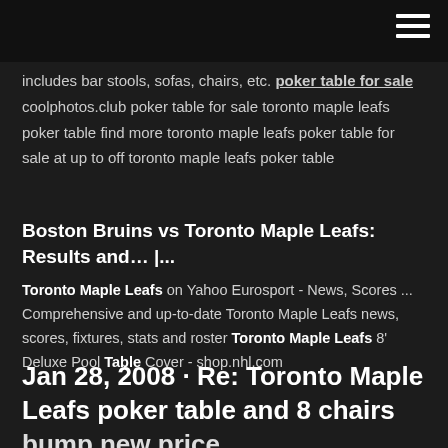includes bar stools, sofas, chairs, etc. poker table for sale coolphotos.club poker table for sale toronto maple leafs poker table find more toronto maple leafs poker table for sale at up to off toronto maple leafs poker table
Boston Bruins vs Toronto Maple Leafs: Results and… |...
Toronto Maple Leafs on Yahoo Eurosport - News, Scores ... Comprehensive and up-to-date Toronto Maple Leafs news, scores, fixtures, stats and roster Toronto Maple Leafs 8' Deluxe Pool Table Cover - shop.nhl.com
Jan 28, 2008 · Re: Toronto Maple Leafs poker table and 8 chairs bump new price